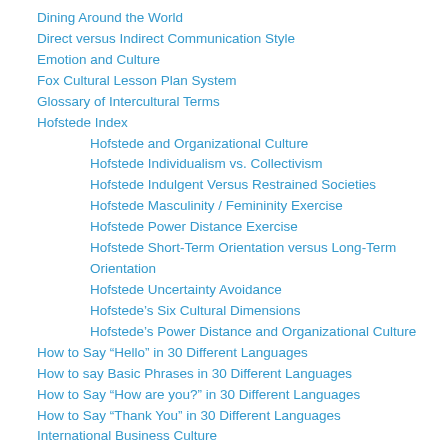Dining Around the World
Direct versus Indirect Communication Style
Emotion and Culture
Fox Cultural Lesson Plan System
Glossary of Intercultural Terms
Hofstede Index
Hofstede and Organizational Culture
Hofstede Individualism vs. Collectivism
Hofstede Indulgent Versus Restrained Societies
Hofstede Masculinity / Femininity Exercise
Hofstede Power Distance Exercise
Hofstede Short-Term Orientation versus Long-Term Orientation
Hofstede Uncertainty Avoidance
Hofstede's Six Cultural Dimensions
Hofstede's Power Distance and Organizational Culture
How to Say “Hello” in 30 Different Languages
How to say Basic Phrases in 30 Different Languages
How to Say “How are you?” in 30 Different Languages
How to Say “Thank You” in 30 Different Languages
International Business Culture